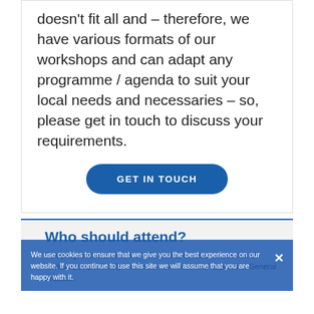doesn't fit all and – therefore, we have various formats of our workshops and can adapt any programme / agenda to suit your local needs and necessaries – so, please get in touch to discuss your requirements.
GET IN TOUCH
Who should attend?
We use cookies to ensure that we give you the best experience on our website. If you continue to use this site we will assume that you are happy with it.
This programme is aimed at GPs and specialists in a series of workshops specifically focused on the 'business' aspects of General Practice.